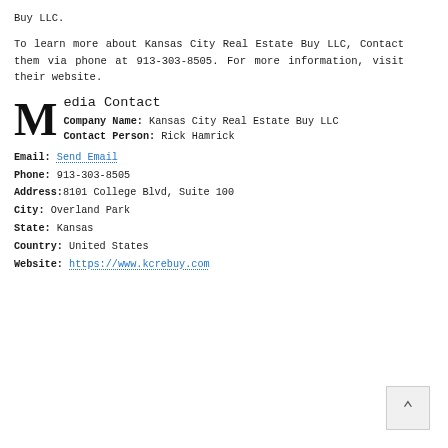Buy LLC.
To learn more about Kansas City Real Estate Buy LLC, Contact them via phone at 913-303-8505. For more information, visit their website.
Media Contact
Company Name: Kansas City Real Estate Buy LLC
Contact Person: Rick Hamrick
Email: Send Email
Phone: 913-303-8505
Address:8101 College Blvd, Suite 100
City: Overland Park
State: Kansas
Country: United States
Website: https://www.kcrebuy.com